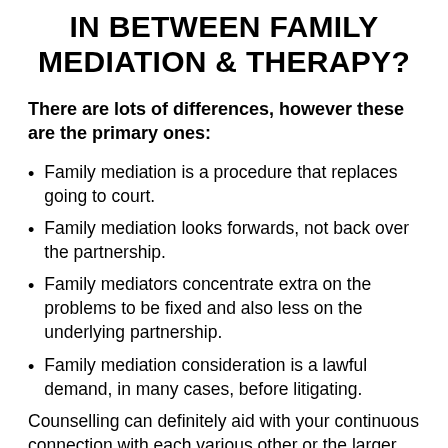IN BETWEEN FAMILY MEDIATION & THERAPY?
There are lots of differences, however these are the primary ones:
Family mediation is a procedure that replaces going to court.
Family mediation looks forwards, not back over the partnership.
Family mediators concentrate extra on the problems to be fixed and also less on the underlying partnership.
Family mediation consideration is a lawful demand, in many cases, before litigating.
Counselling can definitely aid with your continuous connection with each various other or the larger family. You can look for